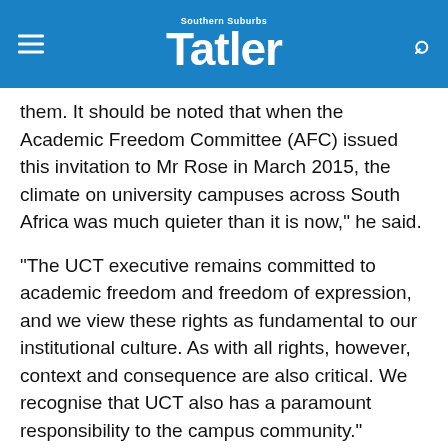Southern Suburbs Tatler
them. It should be noted that when the Academic Freedom Committee (AFC) issued this invitation to Mr Rose in March 2015, the climate on university campuses across South Africa was much quieter than it is now," he said.
“The UCT executive remains committed to academic freedom and freedom of expression, and we view these rights as fundamental to our institutional culture. As with all rights, however, context and consequence are also critical. We recognise that UCT also has a paramount responsibility to the campus community.”
However in its own statement the AFC said that when it had extended the invitation to Mr Rose religious tolerance and the threats to education, free thought and free speech, and issues pertaining to visual representation, had been “prominent in